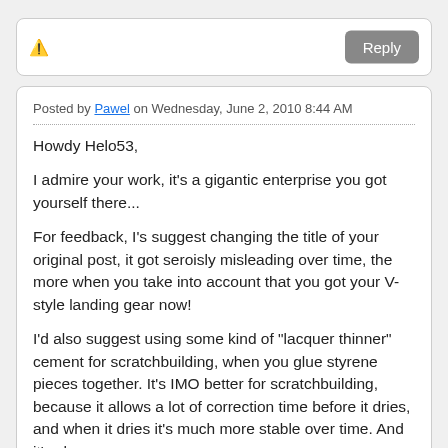[Figure (screenshot): Top card with warning icon and Reply button]
Posted by Pawel on Wednesday, June 2, 2010 8:44 AM
Howdy Helo53,

I admire your work, it's a gigantic enterprise you got yourself there...

For feedback, I's suggest changing the title of your original post, it got seroisly misleading over time, the more when you take into account that you got your V-style landing gear now!

I'd also suggest using some kind of "lacquer thinner" cement for scratchbuilding, when you glue styrene pieces together. It's IMO better for scratchbuilding, because it allows a lot of correction time before it dries, and when it dries it's much more stable over time. And it's cheap.

Keep 'em coming (you have no problem with that so far)